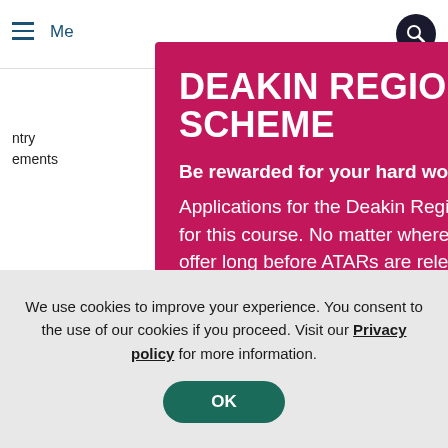Menu (navigation bar with hamburger icon and search)
ntry ements
reers
As a D... and p... You'll ... ding:
b...
b...
DEAKIN REGIONAL ACCESS SCHEME
Be rewarded for your hard work, sooner
Applications for the Deakin Regional Access Scheme are now open for this course. No matter where you live, you could secure an early offer long before ATARs are released.
We use cookies to improve your experience. You consent to the use of our cookies if you proceed. Visit our Privacy policy for more information.
OK